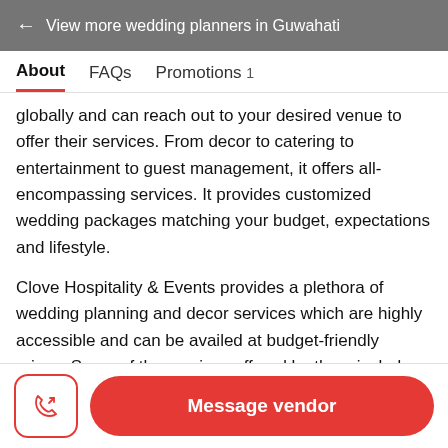← View more wedding planners in Guwahati
About   FAQs   Promotions 1
globally and can reach out to your desired venue to offer their services. From decor to catering to entertainment to guest management, it offers all-encompassing services. It provides customized wedding packages matching your budget, expectations and lifestyle.
Clove Hospitality & Events provides a plethora of wedding planning and decor services which are highly accessible and can be availed at budget-friendly prices. Some of the services offered by them include:
Message vendor